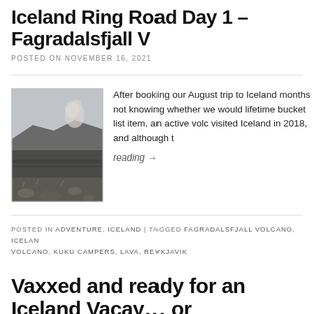Iceland Ring Road Day 1 – Fagradalsfjall V
POSTED ON NOVEMBER 16, 2021
[Figure (photo): Landscape photo showing Fagradalsfjall volcano area with dark lava fields in the foreground and a misty volcanic plume visible on the distant hillside under a grey sky.]
After booking our August trip to Iceland months not knowing whether we would lifetime bucket list item, an active vold visited Iceland in 2018, and although t
reading →
POSTED IN ADVENTURE, ICELAND | TAGGED FAGRADALSFJALL VOLCANO, ICELAN VOLCANO, KUKU CAMPERS, LAVA, REYKJAVIK
Vaxxed and ready for an Iceland Vacay… or not?